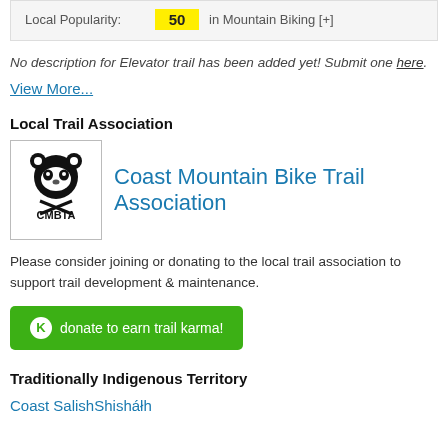Local Popularity: 50 in Mountain Biking [+]
No description for Elevator trail has been added yet! Submit one here.
View More...
Local Trail Association
[Figure (logo): CMBTA logo - Coast Mountain Bike Trail Association logo with a raccoon/bear head graphic and text CMBTA]
Coast Mountain Bike Trail Association
Please consider joining or donating to the local trail association to support trail development & maintenance.
donate to earn trail karma!
Traditionally Indigenous Territory
Coast Salish
Shishalh